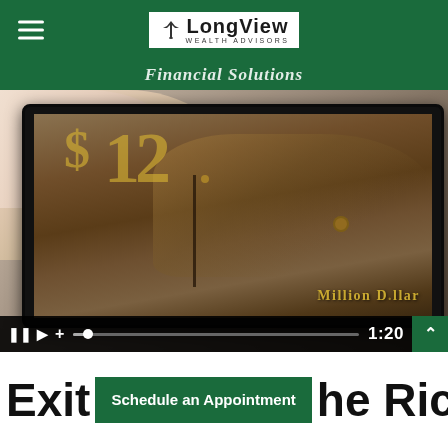LongView Wealth Advisors
Financial Solutions
[Figure (photo): A hand holding a tablet/device displaying a vintage wooden chest/trunk with text '$12 Million Dollar' on it, shown as a video player with controls showing timestamp 1:20]
Exit ... he Rich
Schedule an Appointment